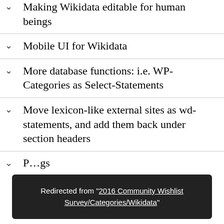Making Wikidata editable for human beings
Mobile UI for Wikidata
More database functions: i.e. WP-Categories as Select-Statements
Move lexicon-like external sites as wd-statements, and add them back under section headers
…gs
Redirected from "2016 Community Wishlist Survey/Categories/Wikidata"